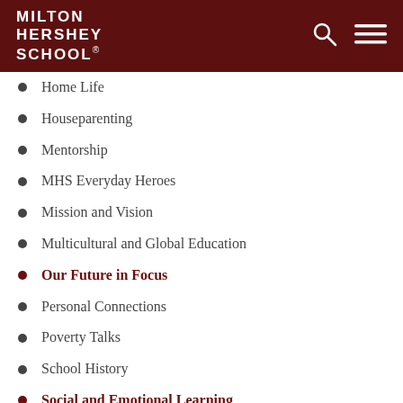MILTON HERSHEY SCHOOL
Home Life
Houseparenting
Mentorship
MHS Everyday Heroes
Mission and Vision
Multicultural and Global Education
Our Future in Focus
Personal Connections
Poverty Talks
School History
Social and Emotional Learning
Spartan Internships
Student Achievement
Student Character and Leadership
Top-Notch Education